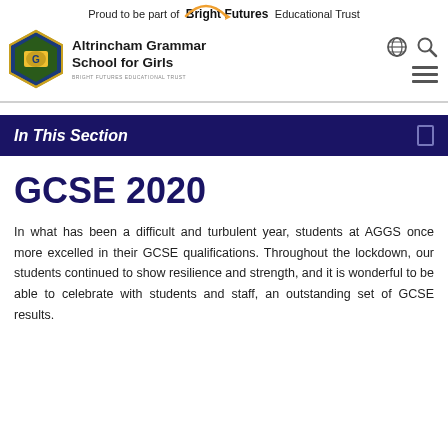Proud to be part of Bright Futures Educational Trust
[Figure (logo): Altrincham Grammar School for Girls hexagonal crest logo in blue, green and gold]
Altrincham Grammar School for Girls
In This Section
GCSE 2020
In what has been a difficult and turbulent year, students at AGGS once more excelled in their GCSE qualifications. Throughout the lockdown, our students continued to show resilience and strength, and it is wonderful to be able to celebrate with students and staff, an outstanding set of GCSE results.